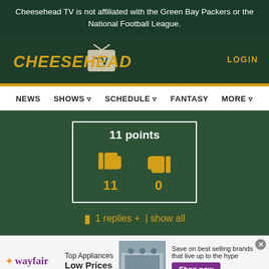Cheesehead TV is not affiliated with the Green Bay Packers or the National Football League.
[Figure (logo): Cheesehead TV logo with yellow italic text and TV box icon]
LOGIN
NEWS   SHOWS   SCHEDULE   FANTASY   MORE
[Figure (infographic): Vote widget showing 11 points with thumbs up (11) and thumbs down (0) icons in a white-bordered box]
1 replies +  | show all
[Figure (screenshot): Wayfair advertisement: Top Appliances Low Prices, image of stove, Save on best selling brands that live up to the hype, Shop now button]